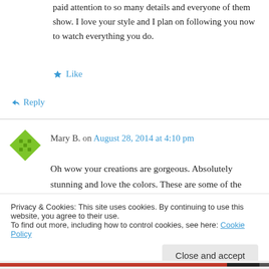paid attention to so many details and everyone of them show. I love your style and I plan on following you now to watch everything you do.
★ Like
↪ Reply
Mary B. on August 28, 2014 at 4:10 pm
Oh wow your creations are gorgeous. Absolutely stunning and love the colors. These are some of the prettiest cards I've seen.
Privacy & Cookies: This site uses cookies. By continuing to use this website, you agree to their use.
To find out more, including how to control cookies, see here: Cookie Policy
Close and accept